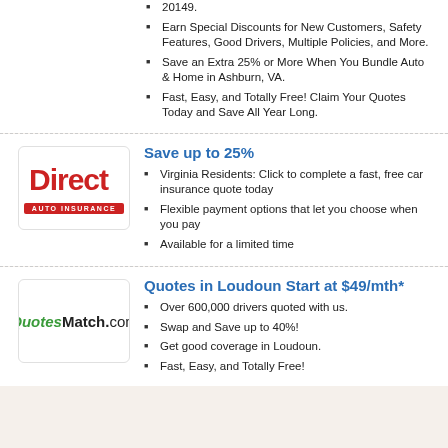20149.
Earn Special Discounts for New Customers, Safety Features, Good Drivers, Multiple Policies, and More.
Save an Extra 25% or More When You Bundle Auto & Home in Ashburn, VA.
Fast, Easy, and Totally Free! Claim Your Quotes Today and Save All Year Long.
[Figure (logo): Direct Auto Insurance logo — red text saying 'Direct' with red banner below reading 'AUTO INSURANCE']
Save up to 25%
Virginia Residents: Click to complete a fast, free car insurance quote today
Flexible payment options that let you choose when you pay
Available for a limited time
[Figure (logo): QuotesMatch.com logo — green italic 'Quotes' and bold black 'Match.com']
Quotes in Loudoun Start at $49/mth*
Over 600,000 drivers quoted with us.
Swap and Save up to 40%!
Get good coverage in Loudoun.
Fast, Easy, and Totally Free!